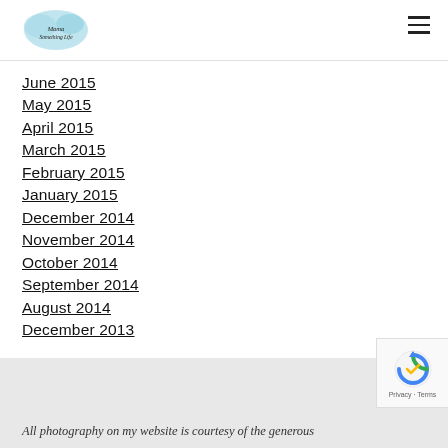[Logo: Mama Something Life blog] [Hamburger menu icon]
June 2015
May 2015
April 2015
March 2015
February 2015
January 2015
December 2014
November 2014
October 2014
September 2014
August 2014
December 2013
All photography on my website is courtesy of the generous